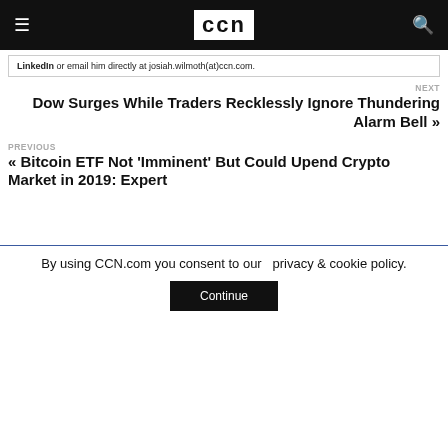CCN
LinkedIn or email him directly at josiah.wilmoth(at)ccn.com.
NEXT
Dow Surges While Traders Recklessly Ignore Thundering Alarm Bell »
PREVIOUS
« Bitcoin ETF Not 'Imminent' But Could Upend Crypto Market in 2019: Expert
By using CCN.com you consent to our  privacy & cookie policy.
Continue